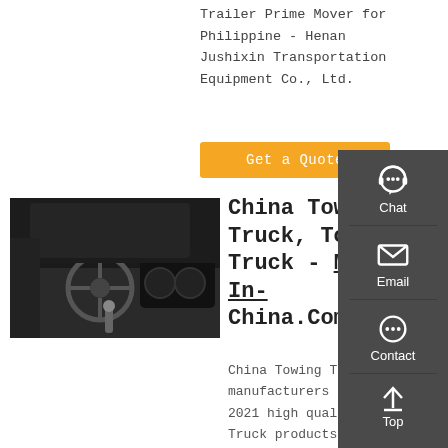Trailer Prime Mover for Philippine - Henan Jushixin Transportation Equipment Co., Ltd.
Get a Quote
[Figure (photo): Interior dashboard view of a truck cab showing steering wheel and instrument cluster]
China Towing Truck, Towing Truck - Made-In-China.Com
China Towing Truck manufacturers - Select 2021 high quality Towing Truck products in best